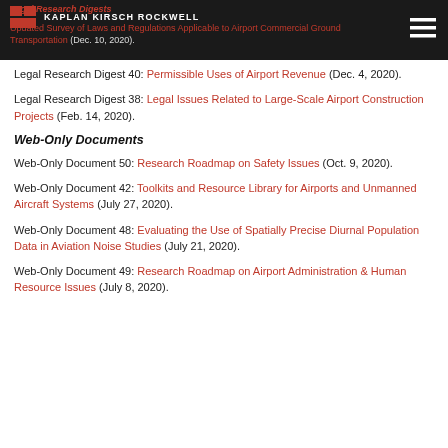Legal Research Digests — Kaplan Kirsch Rockwell — Updated Survey of Laws and Regulations Applicable to Airport Commercial Ground Transportation (Dec. 10, 2020).
Legal Research Digest 40: Permissible Uses of Airport Revenue (Dec. 4, 2020).
Legal Research Digest 38: Legal Issues Related to Large-Scale Airport Construction Projects (Feb. 14, 2020).
Web-Only Documents
Web-Only Document 50: Research Roadmap on Safety Issues (Oct. 9, 2020).
Web-Only Document 42: Toolkits and Resource Library for Airports and Unmanned Aircraft Systems (July 27, 2020).
Web-Only Document 48: Evaluating the Use of Spatially Precise Diurnal Population Data in Aviation Noise Studies (July 21, 2020).
Web-Only Document 49: Research Roadmap on Airport Administration & Human Resource Issues (July 8, 2020).